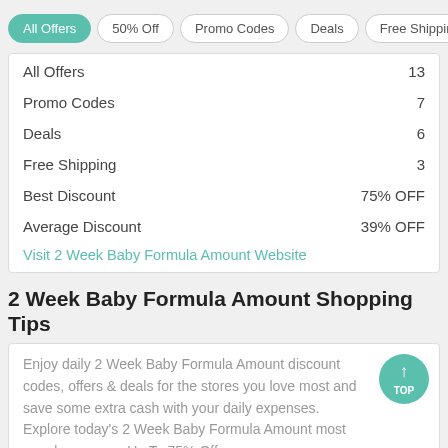All Offers | 50% Off | Promo Codes | Deals | Free Shipping
|  |  |
| --- | --- |
| All Offers | 13 |
| Promo Codes | 7 |
| Deals | 6 |
| Free Shipping | 3 |
| Best Discount | 75% OFF |
| Average Discount | 39% OFF |
Visit 2 Week Baby Formula Amount Website
2 Week Baby Formula Amount Shopping Tips
Enjoy daily 2 Week Baby Formula Amount discount codes, offers & deals for the stores you love most and save some extra cash with your daily expenses. Explore today's 2 Week Baby Formula Amount most popular coupon: Up To 75% Off